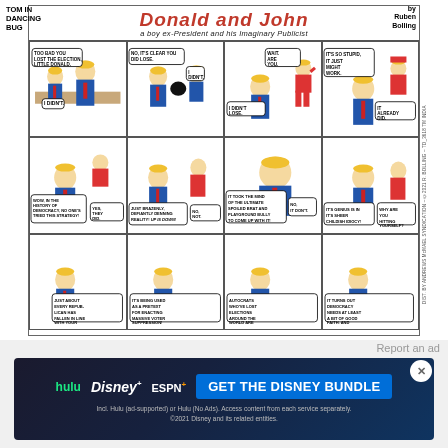[Figure (illustration): Tom the Dancing Bug comic strip titled 'Donald and John: a boy ex-President and his Imaginary Publicist' by Ruben Bolling. A 4x3 grid of comic panels depicting a caricature of Donald Trump as a child and his imaginary publicist. Panels contain dialogue about losing the election, denying reality, calling it a strategy used by spoiled brats and bullies. Bottom row shows partial panels about Republicans falling in line, voter suppression, autocrats who've lost elections, and democracy needing good faith. Distributed by Andrews McMeel Syndication, ©2021 R. Bolling.]
Report an ad
[Figure (screenshot): Advertisement for The Disney Bundle showing Hulu, Disney+, and ESPN+ logos with the call to action 'GET THE DISNEY BUNDLE'. Fine print reads: Incl. Hulu (ad-supported) or Hulu (No Ads). Access content from each service separately. ©2021 Disney and its related entities.]